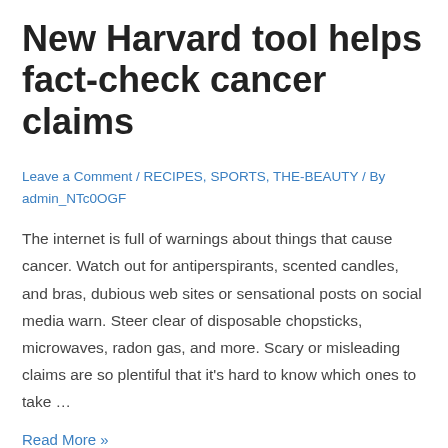New Harvard tool helps fact-check cancer claims
Leave a Comment / RECIPES, SPORTS, THE-BEAUTY / By admin_NTc0OGF
The internet is full of warnings about things that cause cancer. Watch out for antiperspirants, scented candles, and bras, dubious web sites or sensational posts on social media warn. Steer clear of disposable chopsticks, microwaves, radon gas, and more. Scary or misleading claims are so plentiful that it's hard to know which ones to take …
Read More »
1  2  3  Next Page →  Search